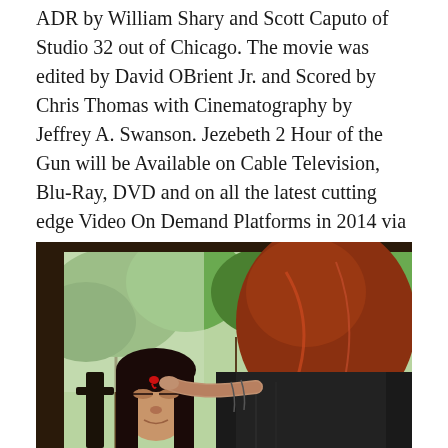ADR by William Shary and Scott Caputo of Studio 32 out of Chicago. The movie was edited by David OBrient Jr. and Scored by Chris Thomas with Cinematography by Jeffrey A. Swanson. Jezebeth 2 Hour of the Gun will be Available on Cable Television, Blu-Ray, DVD and on all the latest cutting edge Video On Demand Platforms in 2014 via SGL Entertainment, R-Squared Films and our many other distribution partners.
[Figure (photo): A person with red-brown hair applying makeup or special effects (fake blood) to another person's forehead. They are on an outdoor porch or deck with green trees visible in the background. Behind-the-scenes film production photo.]